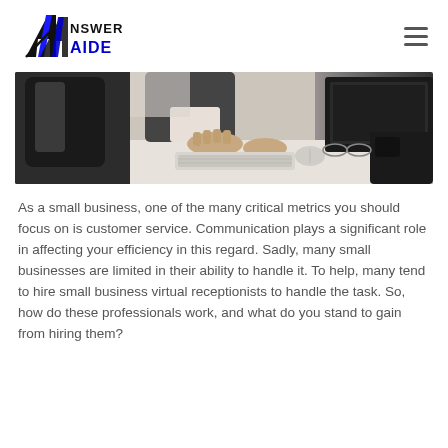[Figure (logo): Answer Aide logo with stylized A lettermark in black and blue, text 'ANSWER AIDE' in black and blue]
[Figure (photo): Office scene showing a person's hands typing on a keyboard at a desk with a computer monitor and phone in the background]
As a small business, one of the many critical metrics you should focus on is customer service. Communication plays a significant role in affecting your efficiency in this regard. Sadly, many small businesses are limited in their ability to handle it. To help, many tend to hire small business virtual receptionists to handle the task. So, how do these professionals work, and what do you stand to gain from hiring them?